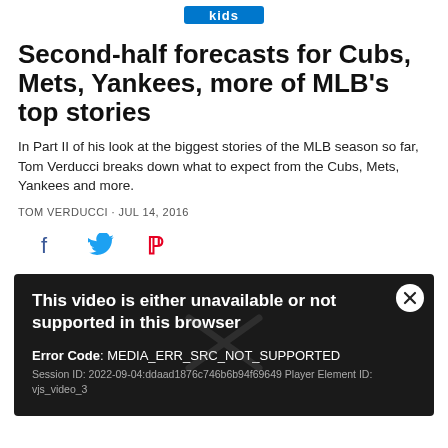kids
Second-half forecasts for Cubs, Mets, Yankees, more of MLB's top stories
In Part II of his look at the biggest stories of the MLB season so far, Tom Verducci breaks down what to expect from the Cubs, Mets, Yankees and more.
TOM VERDUCCI · JUL 14, 2016
[Figure (other): Social share icons: Facebook (blue), Twitter (blue), Pinterest (red)]
[Figure (screenshot): Video player error message on dark background. Title: 'This video is either unavailable or not supported in this browser'. Error Code: MEDIA_ERR_SRC_NOT_SUPPORTED. Session ID: 2022-09-04:ddaad1876c746b6b94f69649 Player Element ID: vjs_video_3. Close button (X) in top right corner.]